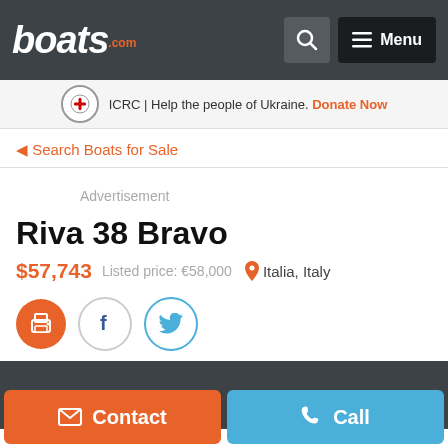boats.com | Search icon | Menu
ICRC | Help the people of Ukraine. Donate Now
◀ Search Boats for Sale
Advertisement
Riva 38 Bravo
$57,743   Listed price: €58,000   Italia, Italy
[Figure (other): Social sharing icons: print (orange), Facebook (circle), Twitter (circle)]
[Figure (photo): Dark gray background section (boat photo area, partially visible)]
Contact | Call